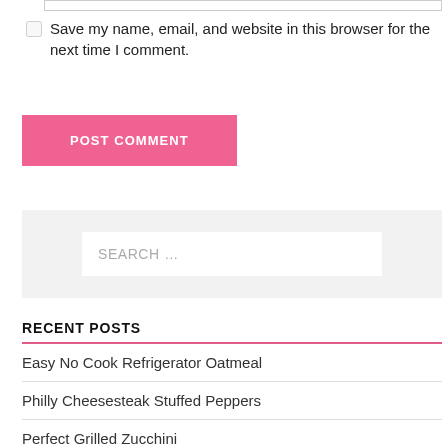Save my name, email, and website in this browser for the next time I comment.
POST COMMENT
SEARCH …
RECENT POSTS
Easy No Cook Refrigerator Oatmeal
Philly Cheesesteak Stuffed Peppers
Perfect Grilled Zucchini
Carrot Cake Pancakes